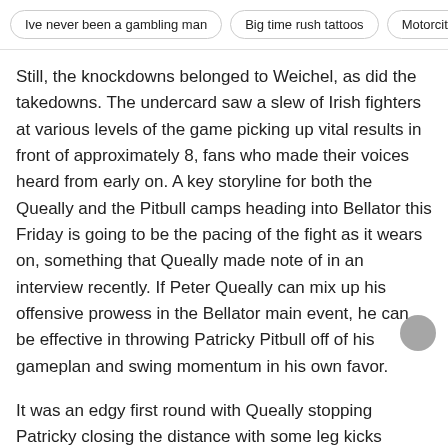Ive never been a gambling man | Big time rush tattoos | Motorcity
Still, the knockdowns belonged to Weichel, as did the takedowns. The undercard saw a slew of Irish fighters at various levels of the game picking up vital results in front of approximately 8, fans who made their voices heard from early on. A key storyline for both the Queally and the Pitbull camps heading into Bellator this Friday is going to be the pacing of the fight as it wears on, something that Queally made note of in an interview recently. If Peter Queally can mix up his offensive prowess in the Bellator main event, he can be effective in throwing Patricky Pitbull off of his gameplan and swing momentum in his own favor.
It was an edgy first round with Queally stopping Patricky closing the distance with some leg kicks although the fans were in no doubt that it was their man who edged it on the scorecard. But yet even though the fairytale didn't quite go as blackjack 17 rule, it's not the end of it as he dusts himself